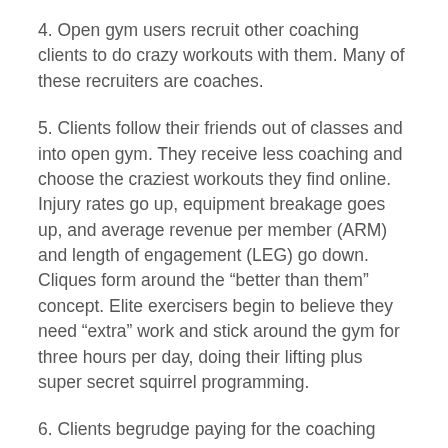4. Open gym users recruit other coaching clients to do crazy workouts with them. Many of these recruiters are coaches.
5. Clients follow their friends out of classes and into open gym. They receive less coaching and choose the craziest workouts they find online. Injury rates go up, equipment breakage goes up, and average revenue per member (ARM) and length of engagement (LEG) go down. Cliques form around the “better than them” concept. Elite exercisers begin to believe they need “extra” work and stick around the gym for three hours per day, doing their lifting plus super secret squirrel programming.
6. Clients begrudge paying for the coaching